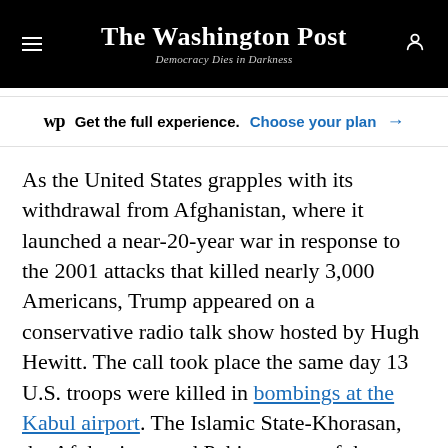The Washington Post — Democracy Dies in Darkness
Get the full experience. Choose your plan →
As the United States grapples with its withdrawal from Afghanistan, where it launched a near-20-year war in response to the 2001 attacks that killed nearly 3,000 Americans, Trump appeared on a conservative radio talk show hosted by Hugh Hewitt. The call took place the same day 13 U.S. troops were killed in bombings at the Kabul airport. The Islamic State-Khorasan, the Afghanistan and Pakistan arm of the Islamic State, has taken credit for the attack.